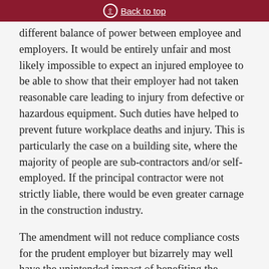Back to top
different balance of power between employee and employers. It would be entirely unfair and most likely impossible to expect an injured employee to be able to show that their employer had not taken reasonable care leading to injury from defective or hazardous equipment. Such duties have helped to prevent future workplace deaths and injury. This is particularly the case on a building site, where the majority of people are sub-contractors and/or self-employed. If the principal contractor were not strictly liable, there would be even greater carnage in the construction industry.
The amendment will not reduce compliance costs for the prudent employer but bizarrely may well have the unintended impact of benefiting the